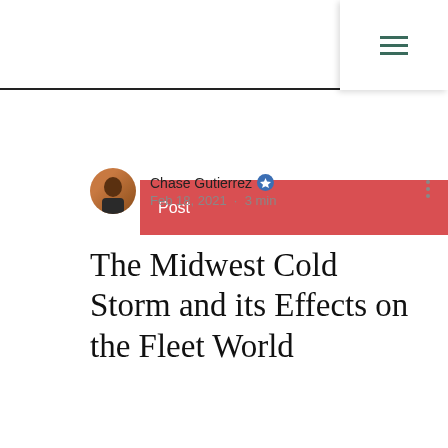Post
Chase Gutierrez · Feb 18, 2021 · 3 min
The Midwest Cold Storm and its Effects on the Fleet World
[Figure (photo): Blurred background image at the bottom of the article page]